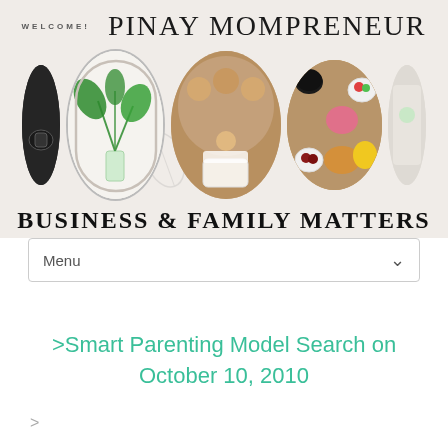WELCOME!  PINAY MOMPRENEUR
[Figure (photo): Banner with five oval-framed photos: dark photo on left edge, white-background plant in vase, group of women and child around a cake, overhead food/drinks spread, partial bright photo on right edge. Decorative leaf watermark in center background.]
BUSINESS & FAMILY MATTERS
Menu
>Smart Parenting Model Search on October 10, 2010
>